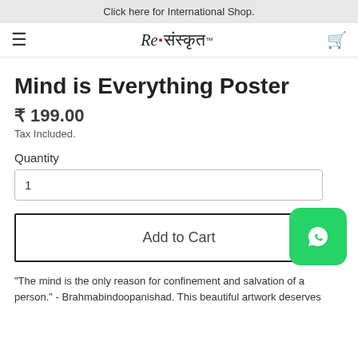Click here for International Shop.
[Figure (logo): Re Sanskrit logo with hamburger menu and cart icon in navigation bar]
Mind is Everything Poster
₹ 199.00
Tax Included.
Quantity
1
Add to Cart
"The mind is the only reason for confinement and salvation of a person." - Brahmabindoopanishad. This beautiful artwork deserves